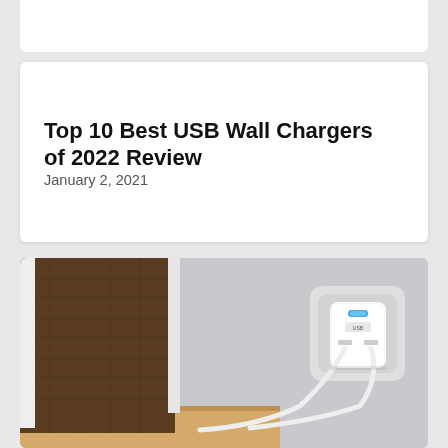Top 10 Best USB Wall Chargers of 2022 Review
January 2, 2021
[Figure (photo): A white USB wall charger plugged into a European-style wall outlet with two white charging cables, mounted on a grey wall next to a wooden bedside table and brown upholstered headboard]